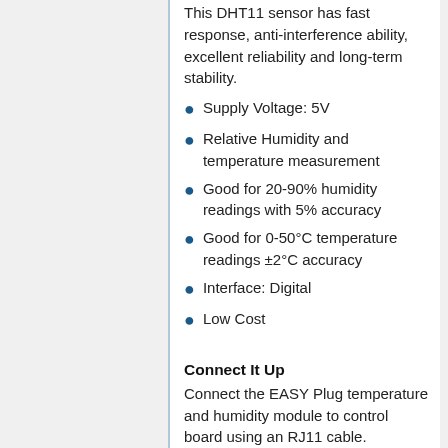This DHT11 sensor has fast response, anti-interference ability, excellent reliability and long-term stability.
Supply Voltage: 5V
Relative Humidity and temperature measurement
Good for 20-90% humidity readings with 5% accuracy
Good for 0-50°C temperature readings ±2°C accuracy
Interface: Digital
Low Cost
Connect It Up
Connect the EASY Plug temperature and humidity module to control board using an RJ11 cable.